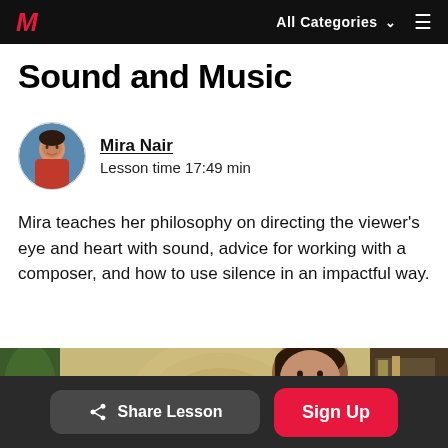All Categories  ≡
Sound and Music
Mira Nair
Lesson time 17:49 min
Mira teaches her philosophy on directing the viewer's eye and heart with sound, advice for working with a composer, and how to use silence in an impactful way.
[Figure (photo): Video thumbnail showing Mira Nair in front of a decorative wall with circular patterns and a plant visible in the background]
Share Lesson  Sign Up